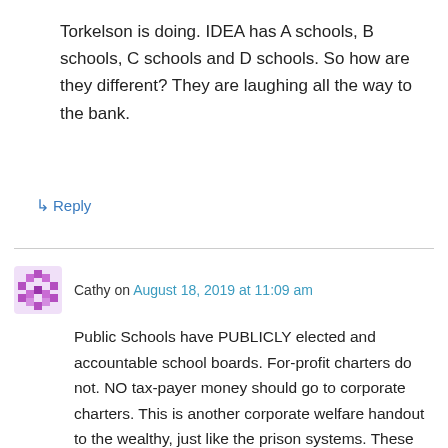Torkelson is doing. IDEA has A schools, B schools, C schools and D schools. So how are they different? They are laughing all the way to the bank.
↳ Reply
Cathy on August 18, 2019 at 11:09 am
Public Schools have PUBLICLY elected and accountable school boards. For-profit charters do not. NO tax-payer money should go to corporate charters. This is another corporate welfare handout to the wealthy, just like the prison systems. These entities are publicly funded segregation and institutional racism.